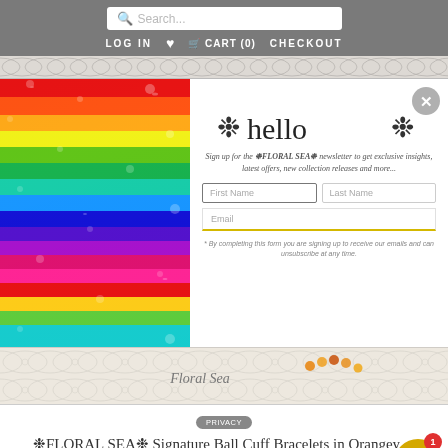Search... LOG IN ♥ CART (0) CHECKOUT
[Figure (screenshot): E-commerce website screenshot showing a search bar, navigation with LOG IN, CART (0), CHECKOUT, a newsletter popup with rainbow crystal bracelet photo on the left and a hello signup form on the right, and a product listing for FLORAL SEA Signature Ball Cuff Bracelets in Orangey Zinnias]
❋hello❋
Sign up for the ❋FLORAL SEA❋ newsletter to get exclusive insights, latest offers, new collection releases and more...
First Name
Last Name
Email
* By completing this form you are signing up to receive our emails and can unsubscribe at any time.
❋FLORAL SEA❋ Signature Ball Cuff Bracelets in Orangey Zinnias